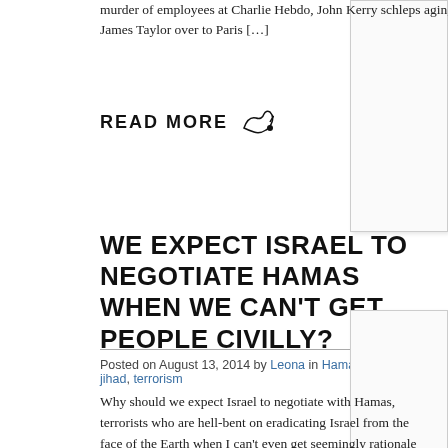murder of employees at Charlie Hebdo, John Kerry schleps aging James Taylor over to Paris […]
READ MORE
WE EXPECT ISRAEL TO NEGOTIATE HAMAS WHEN WE CAN'T GET PEOPLE CIVILLY?
Posted on August 13, 2014 by Leona in Hamas, Israel, jihad, terrorism
Why should we expect Israel to negotiate with Hamas, terrorists who are hell-bent on eradicating Israel from the face of the Earth when I can't even get seemingly rationale people, living in the best